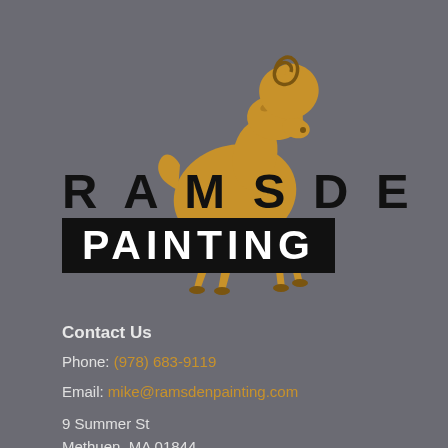[Figure (logo): Ramsden Painting logo featuring a golden ram silhouette rearing up, with a spiral horn, above the company name. 'RAMSDEN' in large black uppercase letters with the ram overlaid, 'PAINTING' in large white uppercase letters on a black rectangular banner.]
Contact Us
Phone: (978) 683-9119
Email: mike@ramsdenpainting.com
9 Summer St
Methuen, MA 01844